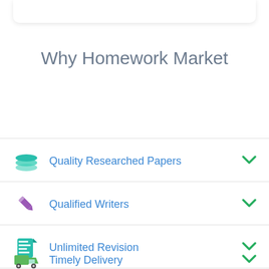Why Homework Market
Quality Researched Papers
Qualified Writers
Unlimited Revision
Timely Delivery